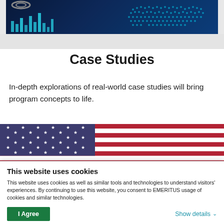[Figure (photo): Dark blue technology background image with financial chart bars and a dotted world map overlay]
Case Studies
In-depth explorations of real-world case studies will bring program concepts to life.
[Figure (photo): American flag image showing stars on blue background on the left and red and white stripes on the right]
This website uses cookies
This website uses cookies as well as similar tools and technologies to understand visitors' experiences. By continuing to use this website, you consent to EMERITUS usage of cookies and similar technologies.
I Agree   Show details
I Agree
Show details